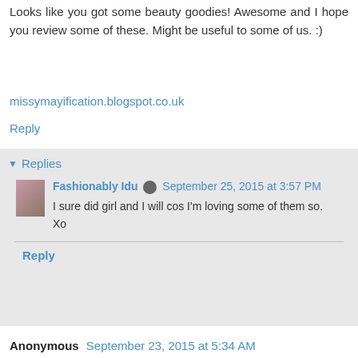Looks like you got some beauty goodies! Awesome and I hope you review some of these. Might be useful to some of us. :)
missymayification.blogspot.co.uk
Reply
Replies
Fashionably Idu  September 25, 2015 at 3:57 PM
I sure did girl and I will cos I'm loving some of them so.
Xo
Reply
Anonymous  September 23, 2015 at 5:34 AM
i love this beauty box!!! i'm obsessed with tangle teazer! visit my new post :)